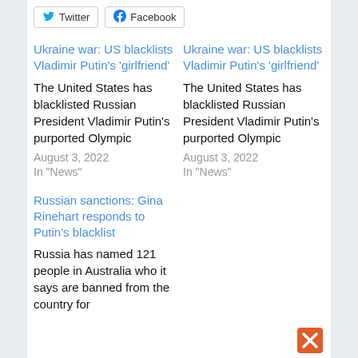Twitter
Facebook
Ukraine war: US blacklists Vladimir Putin's 'girlfriend'
The United States has blacklisted Russian President Vladimir Putin's purported Olympic
August 3, 2022
In "News"
Ukraine war: US blacklists Vladimir Putin's 'girlfriend'
The United States has blacklisted Russian President Vladimir Putin's purported Olympic
August 3, 2022
In "News"
Russian sanctions: Gina Rinehart responds to Putin's blacklist
Russia has named 121 people in Australia who it says are banned from the country for